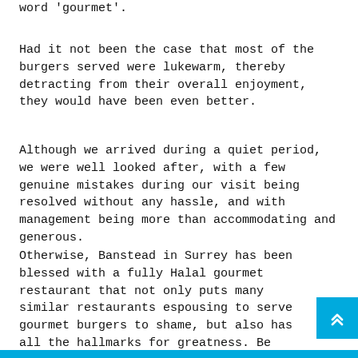word 'gourmet'.
Had it not been the case that most of the burgers served were lukewarm, thereby detracting from their overall enjoyment, they would have been even better.
Although we arrived during a quiet period, we were well looked after, with a few genuine mistakes during our visit being resolved without any hassle, and with management being more than accommodating and generous.
Otherwise, Banstead in Surrey has been blessed with a fully Halal gourmet restaurant that not only puts many similar restaurants espousing to serve gourmet burgers to shame, but also has all the hallmarks for greatness. Be advised that a discretionary service charge of 12.5% will be added to your bill.